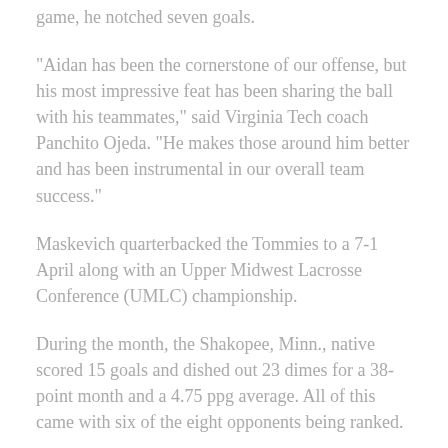game, he notched seven goals.
"Aidan has been the cornerstone of our offense, but his most impressive feat has been sharing the ball with his teammates," said Virginia Tech coach Panchito Ojeda. “He makes those around him better and has been instrumental in our overall team success."
Maskevich quarterbacked the Tommies to a 7-1 April along with an Upper Midwest Lacrosse Conference (UMLC) championship.
During the month, the Shakopee, Minn., native scored 15 goals and dished out 23 dimes for a 38-point month and a 4.75 ppg average. All of this came with six of the eight opponents being ranked.
He scored six goals and set up two others in the Tommies two-game run to the conference